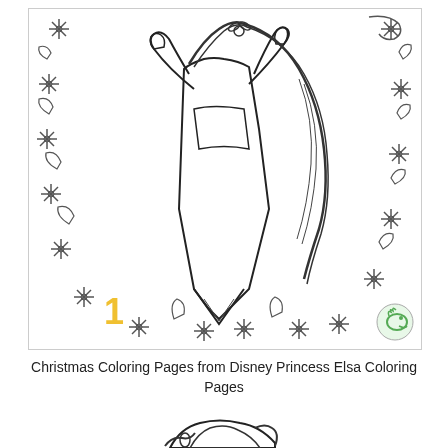[Figure (illustration): A coloring page illustration of Disney Princess Elsa from Frozen in a Christmas-themed design. Elsa is shown with her long braided hair, wearing her dress, with her hands raised near her face. She is surrounded by a decorative border of snowflakes and ornate swirling designs. A small number '1' appears in yellow at the bottom left of the image, and a small green dinosaur/lizard logo watermark appears at the bottom right.]
Christmas Coloring Pages from Disney Princess Elsa Coloring Pages
[Figure (illustration): Partial view of another coloring page showing what appears to be a character with dark wavy hair, partially visible at the bottom of the page.]